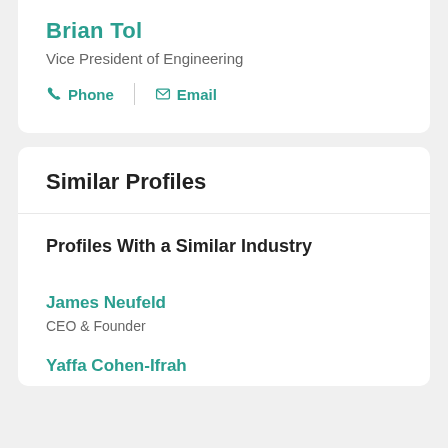Brian Tol
Vice President of Engineering
Phone  |  Email
Similar Profiles
Profiles With a Similar Industry
James Neufeld
CEO & Founder
Yaffa Cohen-Ifrah